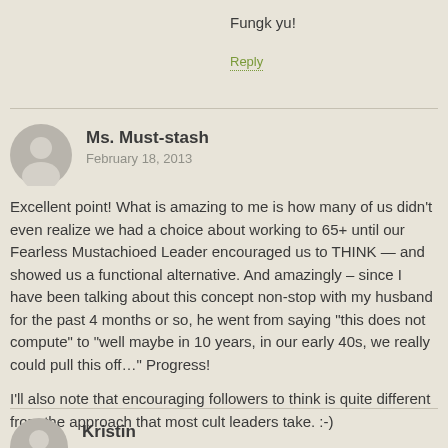Fungk yu!
Reply
Ms. Must-stash
February 18, 2013
Excellent point! What is amazing to me is how many of us didn't even realize we had a choice about working to 65+ until our Fearless Mustachioed Leader encouraged us to THINK — and showed us a functional alternative. And amazingly – since I have been talking about this concept non-stop with my husband for the past 4 months or so, he went from saying "this does not compute" to "well maybe in 10 years, in our early 40s, we really could pull this off..." Progress!
I'll also note that encouraging followers to think is quite different from the approach that most cult leaders take. :-)
Reply
Kristin